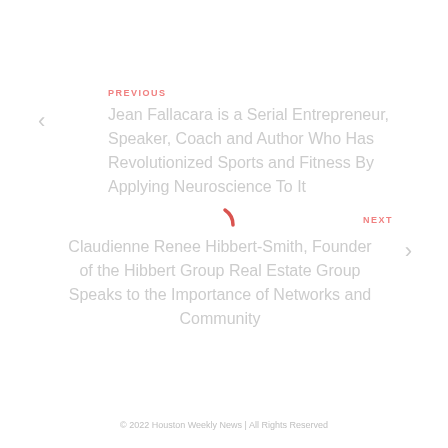PREVIOUS
Jean Fallacara is a Serial Entrepreneur, Speaker, Coach and Author Who Has Revolutionized Sports and Fitness By Applying Neuroscience To It
[Figure (other): Loading spinner — a partial red arc indicating a loading animation]
NEXT
Claudienne Renee Hibbert-Smith, Founder of the Hibbert Group Real Estate Group Speaks to the Importance of Networks and Community
© 2022 Houston Weekly News | All Rights Reserved